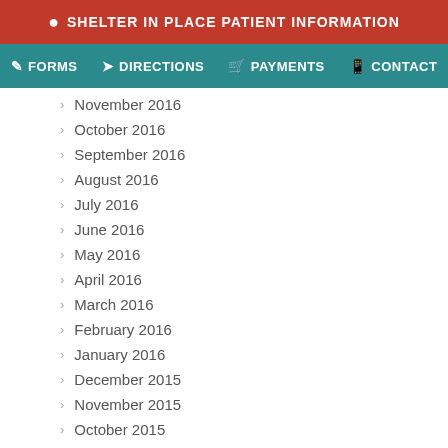SHELTER IN PLACE PATIENT INFORMATION
FORMS  DIRECTIONS  PAYMENTS  CONTACT
November 2016
October 2016
September 2016
August 2016
July 2016
June 2016
May 2016
April 2016
March 2016
February 2016
January 2016
December 2015
November 2015
October 2015
September 2015
August 2015